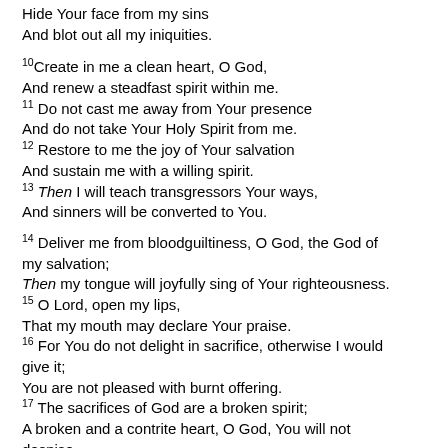Hide Your face from my sins
And blot out all my iniquities.
10Create in me a clean heart, O God,
And renew a steadfast spirit within me.
11Do not cast me away from Your presence
And do not take Your Holy Spirit from me.
12Restore to me the joy of Your salvation
And sustain me with a willing spirit.
13Then I will teach transgressors Your ways,
And sinners will be converted to You.
14Deliver me from bloodguiltiness, O God, the God of my salvation;
Then my tongue will joyfully sing of Your righteousness.
15O Lord, open my lips,
That my mouth may declare Your praise.
16For You do not delight in sacrifice, otherwise I would give it;
You are not pleased with burnt offering.
17The sacrifices of God are a broken spirit;
A broken and a contrite heart, O God, You will not despise.